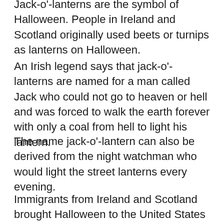Jack-o'-lanterns are the symbol of Halloween. People in Ireland and Scotland originally used beets or turnips as lanterns on Halloween.
An Irish legend says that jack-o'-lanterns are named for a man called Jack who could not go to heaven or hell and was forced to walk the earth forever with only a coal from hell to light his lantern.
The name jack-o'-lantern can also be derived from the night watchman who would light the street lanterns every evening.
Immigrants from Ireland and Scotland brought Halloween to the United States in the 1800s. Haitian